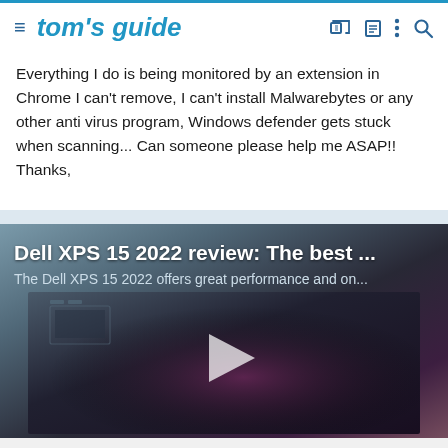tom's guide
Everything I do is being monitored by an extension in Chrome I can't remove, I can't install Malwarebytes or any other anti virus program, Windows defender gets stuck when scanning... Can someone please help me ASAP!! Thanks,
[Figure (screenshot): Embedded video player showing Dell XPS 15 2022 review with play button overlay on dark background]
Dell XPS 15 2022 review: The best ...
The Dell XPS 15 2022 offers great performance and on...